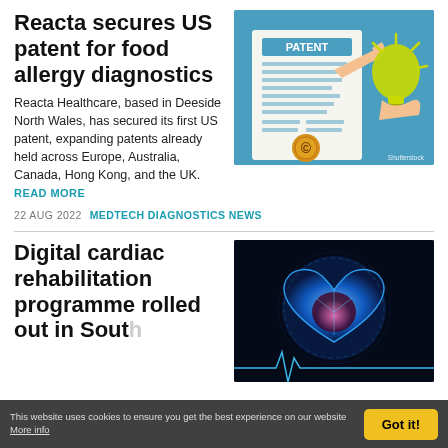Reacta secures US patent for food allergy diagnostics
[Figure (illustration): Illustration showing a patent document with a copyright seal and a glowing lightbulb, Shutterstock watermark]
Reacta Healthcare, based in Deeside North Wales, has secured its first US patent, expanding patents already held across Europe, Australia, Canada, Hong Kong, and the UK. READ MORE
22 AUG 2022   MEDTECH DIAGNOSTICS NEWS
Digital cardiac rehabilitation programme rolled out in South...
[Figure (illustration): Dark background illustration of a glowing blue digital heart with an ECG waveform]
This website uses cookies to ensure you get the best experience on our website More info